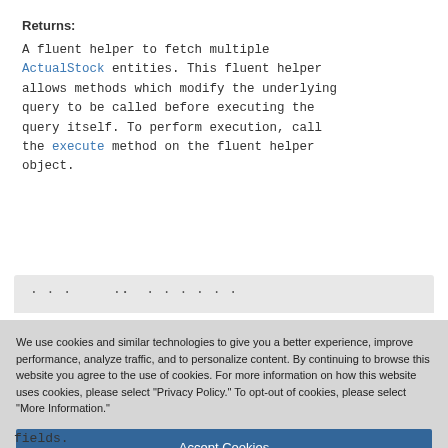Returns: A fluent helper to fetch multiple ActualStock entities. This fluent helper allows methods which modify the underlying query to be called before executing the query itself. To perform execution, call the execute method on the fluent helper object.
[Figure (screenshot): Cookie consent banner overlay with Accept Cookies and More Information buttons, Privacy Policy link, and Powered by TrustArc branding. Background shows partially visible documentation page.]